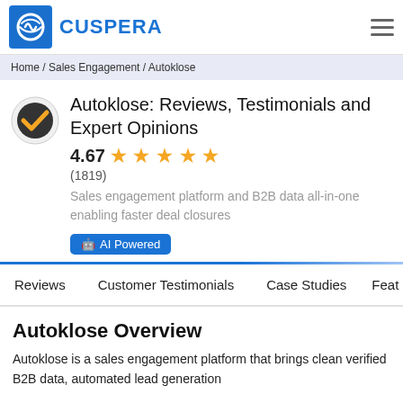CUSPERA
Home / Sales Engagement / Autoklose
Autoklose: Reviews, Testimonials and Expert Opinions
4.67 ★★★★★
(1819)
Sales engagement platform and B2B data all-in-one enabling faster deal closures
🤖 AI Powered
Reviews   Customer Testimonials   Case Studies   Feat
Autoklose Overview
Autoklose is a sales engagement platform that brings clean verified B2B data, automated lead generation